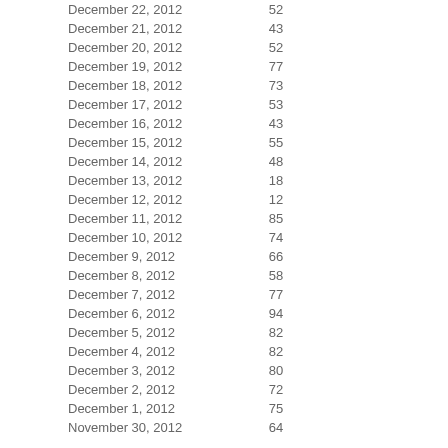| Date | Value |
| --- | --- |
| December 22, 2012 | 52 |
| December 21, 2012 | 43 |
| December 20, 2012 | 52 |
| December 19, 2012 | 77 |
| December 18, 2012 | 73 |
| December 17, 2012 | 53 |
| December 16, 2012 | 43 |
| December 15, 2012 | 55 |
| December 14, 2012 | 48 |
| December 13, 2012 | 18 |
| December 12, 2012 | 12 |
| December 11, 2012 | 85 |
| December 10, 2012 | 74 |
| December 9, 2012 | 66 |
| December 8, 2012 | 58 |
| December 7, 2012 | 77 |
| December 6, 2012 | 94 |
| December 5, 2012 | 82 |
| December 4, 2012 | 82 |
| December 3, 2012 | 80 |
| December 2, 2012 | 72 |
| December 1, 2012 | 75 |
| November 30, 2012 | 64 |